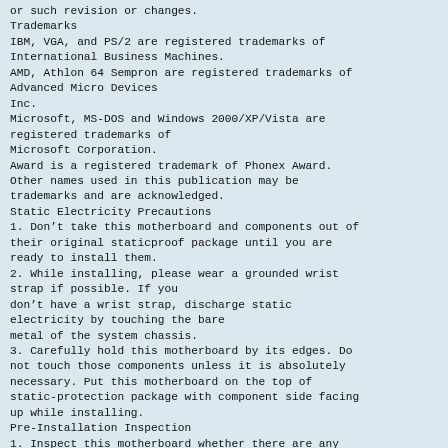or such revision or changes.
Trademarks
IBM, VGA, and PS/2 are registered trademarks of International Business Machines.
AMD, Athlon 64 Sempron are registered trademarks of Advanced Micro Devices Inc.
Microsoft, MS-DOS and Windows 2000/XP/Vista are registered trademarks of Microsoft Corporation.
Award is a registered trademark of Phonex Award.
Other names used in this publication may be trademarks and are acknowledged.
Static Electricity Precautions
1. Don’t take this motherboard and components out of their original staticproof package until you are ready to install them.
2. While installing, please wear a grounded wrist strap if possible. If you don’t have a wrist strap, discharge static electricity by touching the bare metal of the system chassis.
3. Carefully hold this motherboard by its edges. Do not touch those components unless it is absolutely necessary. Put this motherboard on the top of static-protection package with component side facing up while installing.
Pre-Installation Inspection
1. Inspect this motherboard whether there are any damages to components and connectors on the board.
2. If you suspect this motherboard has been damaged, do not connect power